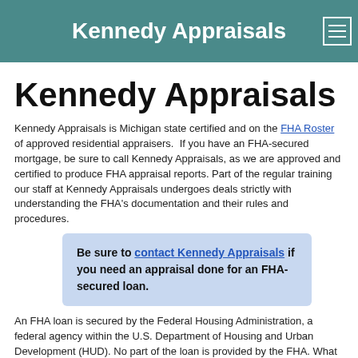Kennedy Appraisals
Kennedy Appraisals
Kennedy Appraisals is Michigan state certified and on the FHA Roster of approved residential appraisers.  If you have an FHA-secured mortgage, be sure to call Kennedy Appraisals, as we are approved and certified to produce FHA appraisal reports. Part of the regular training our staff at Kennedy Appraisals undergoes deals strictly with understanding the FHA's documentation and their rules and procedures.
Be sure to contact Kennedy Appraisals if you need an appraisal done for an FHA-secured loan.
An FHA loan is secured by the Federal Housing Administration, a federal agency within the U.S. Department of Housing and Urban Development (HUD). No part of the loan is provided by the FHA. What the FHA does is make sure that the loan is insured in case the borrower defaults on his or her loan obligations. Available to all purchasers, FHA loan programs are formed to help credit-worthy low-income and moderate-income families who do not have the qualifications for conventional loans. Remember that the lending